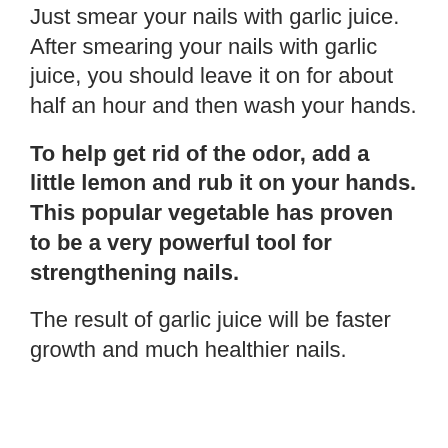Just smear your nails with garlic juice. After smearing your nails with garlic juice, you should leave it on for about half an hour and then wash your hands.
To help get rid of the odor, add a little lemon and rub it on your hands. This popular vegetable has proven to be a very powerful tool for strengthening nails.
The result of garlic juice will be faster growth and much healthier nails.